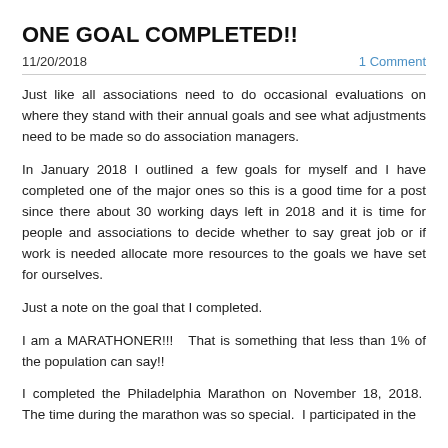ONE GOAL COMPLETED!!
11/20/2018    1 Comment
Just like all associations need to do occasional evaluations on where they stand with their annual goals and see what adjustments need to be made so do association managers.
In January 2018 I outlined a few goals for myself and I have completed one of the major ones so this is a good time for a post since there about 30 working days left in 2018 and it is time for people and associations to decide whether to say great job or if work is needed allocate more resources to the goals we have set for ourselves.
Just a note on the goal that I completed.
I am a MARATHONER!!!  That is something that less than 1% of the population can say!!
I completed the Philadelphia Marathon on November 18, 2018.  The time during the marathon was so special.  I participated in the